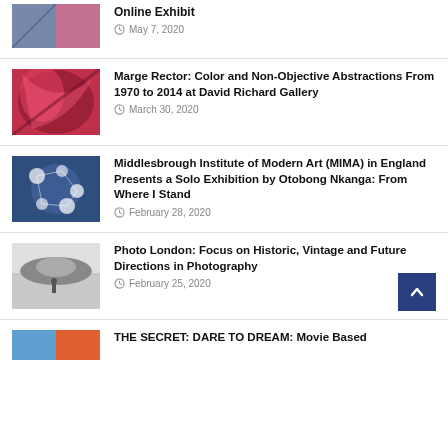Online Exhibit — May 7, 2020
Marge Rector: Color and Non-Objective Abstractions From 1970 to 2014 at David Richard Gallery — March 30, 2020
Middlesbrough Institute of Modern Art (MIMA) in England Presents a Solo Exhibition by Otobong Nkanga: From Where I Stand — February 28, 2020
Photo London: Focus on Historic, Vintage and Future Directions in Photography — February 25, 2020
THE SECRET: DARE TO DREAM: Movie Based...